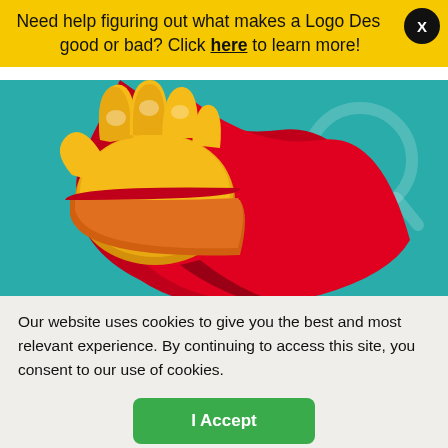Need help figuring out what makes a Logo Design good or bad? Click here to learn more!
[Figure (illustration): Cartoon superhero illustration showing a fist with a yellow glove and red cape, on a teal background. Part of a website hero image.]
In Collaboration With
[Figure (logo): Partial logo showing 'WSpace' with a red W mark, partially visible at bottom of hero section]
Our website uses cookies to give you the best and most relevant experience. By continuing to access this site, you consent to our use of cookies.
I Accept